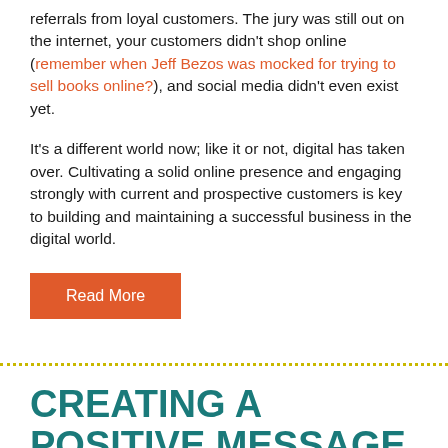referrals from loyal customers. The jury was still out on the internet, your customers didn't shop online (remember when Jeff Bezos was mocked for trying to sell books online?), and social media didn't even exist yet.
It's a different world now; like it or not, digital has taken over. Cultivating a solid online presence and engaging strongly with current and prospective customers is key to building and maintaining a successful business in the digital world.
Read More
CREATING A POSITIVE MESSAGE AMID THE